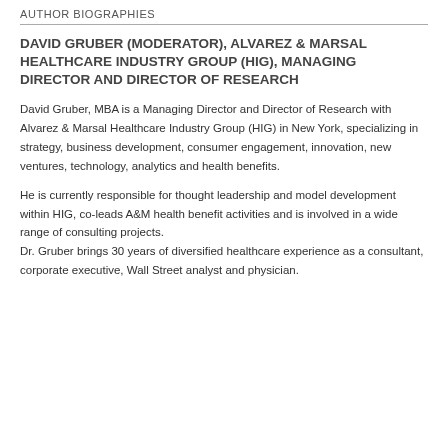AUTHOR BIOGRAPHIES
DAVID GRUBER (MODERATOR), ALVAREZ & MARSAL HEALTHCARE INDUSTRY GROUP (HIG), MANAGING DIRECTOR AND DIRECTOR OF RESEARCH
David Gruber, MBA is a Managing Director and Director of Research with Alvarez & Marsal Healthcare Industry Group (HIG) in New York, specializing in strategy, business development, consumer engagement, innovation, new ventures, technology, analytics and health benefits.
He is currently responsible for thought leadership and model development within HIG, co-leads A&M health benefit activities and is involved in a wide range of consulting projects. Dr. Gruber brings 30 years of diversified healthcare experience as a consultant, corporate executive, Wall Street analyst and physician.